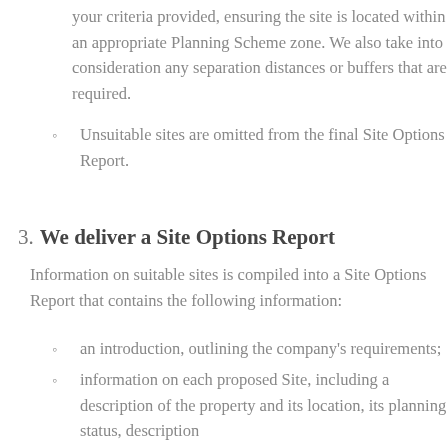your criteria provided, ensuring the site is located within an appropriate Planning Scheme zone. We also take into consideration any separation distances or buffers that are required.
Unsuitable sites are omitted from the final Site Options Report.
3. We deliver a Site Options Report
Information on suitable sites is compiled into a Site Options Report that contains the following information:
an introduction, outlining the company's requirements;
information on each proposed Site, including a description of the property and its location, its planning status, description